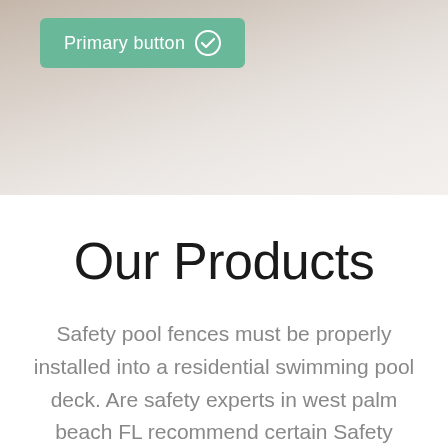[Figure (photo): Blurred background hero image showing what appears to be a pool deck or tiled surface in warm beige/taupe tones]
[Figure (other): Green primary button with checkmark icon reading 'Primary button']
Our Products
Safety pool fences must be properly installed into a residential swimming pool deck. Are safety experts in west palm beach FL recommend certain Safety products such as cool safety fences, show me pool safety net and